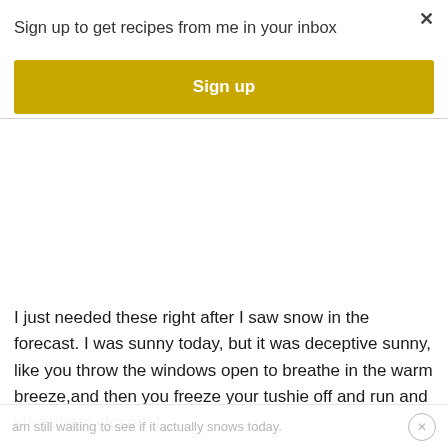Sign up to get recipes from me in your inbox
[Figure (other): Yellow 'Sign up' button]
I just needed these right after I saw snow in the forecast. I was sunny today, but it was deceptive sunny, like you throw the windows open to breathe in the warm breeze,and then you freeze your tushie off and run and slam them closed. I
am still waiting to see if it actually snows today.